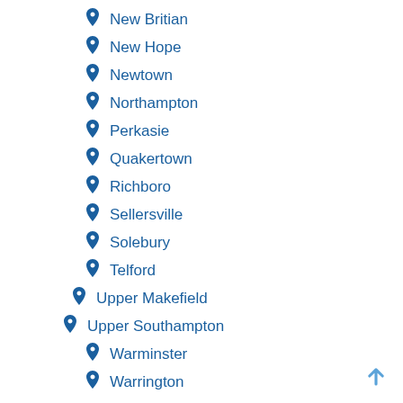New Britian
New Hope
Newtown
Northampton
Perkasie
Quakertown
Richboro
Sellersville
Solebury
Telford
Upper Makefield
Upper Southampton
Warminster
Warrington